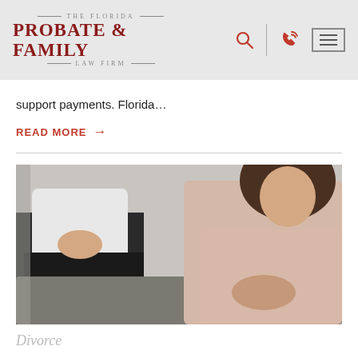THE FLORIDA PROBATE & FAMILY LAW FIRM
support payments. Florida…
READ MORE →
[Figure (photo): Two people sitting apart on a couch, not looking at each other, suggesting relationship conflict or divorce discussion. One person in white shirt, the other in a light pink blouse.]
Divorce